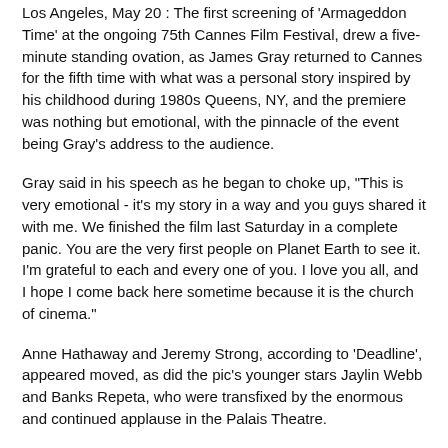Los Angeles, May 20 : The first screening of 'Armageddon Time' at the ongoing 75th Cannes Film Festival, drew a five-minute standing ovation, as James Gray returned to Cannes for the fifth time with what was a personal story inspired by his childhood during 1980s Queens, NY, and the premiere was nothing but emotional, with the pinnacle of the event being Gray's address to the audience.
Gray said in his speech as he began to choke up, "This is very emotional - it's my story in a way and you guys shared it with me. We finished the film last Saturday in a complete panic. You are the very first people on Planet Earth to see it. I'm grateful to each and every one of you. I love you all, and I hope I come back here sometime because it is the church of cinema."
Anne Hathaway and Jeremy Strong, according to 'Deadline', appeared moved, as did the pic's younger stars Jaylin Webb and Banks Repeta, who were transfixed by the enormous and continued applause in the Palais Theatre.
'Armageddon Time' follows a young, artistic Jewish boy who comes up against challenges in public school and also befriends a rebellious classmate . Hathaway and Strong play the boy's working-class parents, while Anthony Hopkins is the wise, beloved, immigrant grandfather who steers the young adolescent on a proper path.